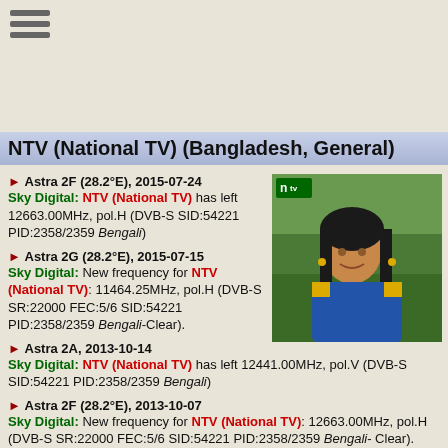NTV (National TV) (Bangladesh, General)
Astra 2F (28.2°E), 2015-07-24 — Sky Digital: NTV (National TV) has left 12663.00MHz, pol.H (DVB-S SID:54221 PID:2358/2359 Bengali)
[Figure (photo): Photo of a woman, NTV logo visible in top corner, outdoor background]
Astra 2G (28.2°E), 2015-07-15 — Sky Digital: New frequency for NTV (National TV): 11464.25MHz, pol.H (DVB-S SR:22000 FEC:5/6 SID:54221 PID:2358/2359 Bengali-Clear).
Astra 2A, 2013-10-14 — Sky Digital: NTV (National TV) has left 12441.00MHz, pol.V (DVB-S SID:54221 PID:2358/2359 Bengali)
Astra 2F (28.2°E), 2013-10-07 — Sky Digital: New frequency for NTV (National TV): 12663.00MHz, pol.H (DVB-S SR:22000 FEC:5/6 SID:54221 PID:2358/2359 Bengali- Clear).
Eutelsat 33C, 2013-10-04 — Sky Digital: NTV (National TV) has left 12643.00MHz, pol.H (DVB-S SID:54221 PID:2358/2359 Bengali)